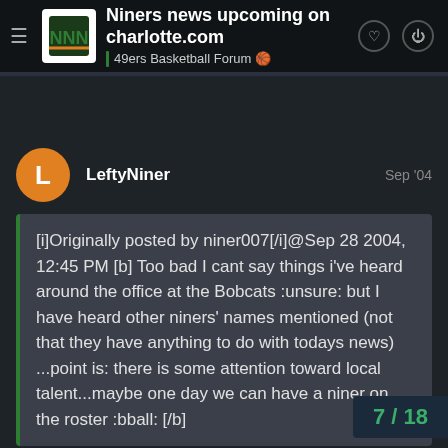Niners news upcoming on charlotte.com | 49ers Basketball Forum
LeftyNiner  Sep '04
[i]Originally posted by niner007[/i]@Sep 28 2004, 12:45 PM [b] Too bad I cant say things i've heard around the office at the Bobcats :unsure: but I have heard other niners' names mentioned (not that they have anything to do with todays news) ...point is: there is some attention toward local talent...maybe one day we can have a niner on the roster :bball: [/b]
You working for the Bobcats? Can you will be carried by Charter out of Hickor
7/18